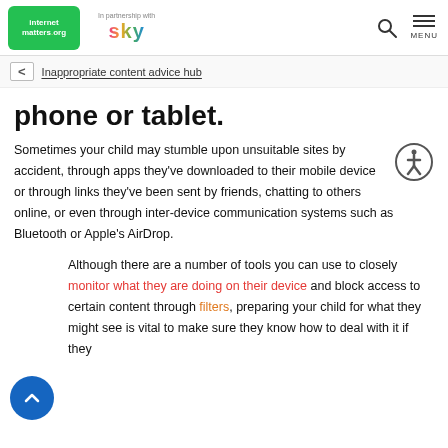internet matters.org — In partnership with sky — Search — MENU
Inappropriate content advice hub
phone or tablet.
Sometimes your child may stumble upon unsuitable sites by accident, through apps they've downloaded to their mobile device or through links they've been sent by friends, chatting to others online, or even through inter-device communication systems such as Bluetooth or Apple's AirDrop.
Although there are a number of tools you can use to closely monitor what they are doing on their device and block access to certain content through filters, preparing your child for what they might see is vital to make sure they know how to deal with it if they